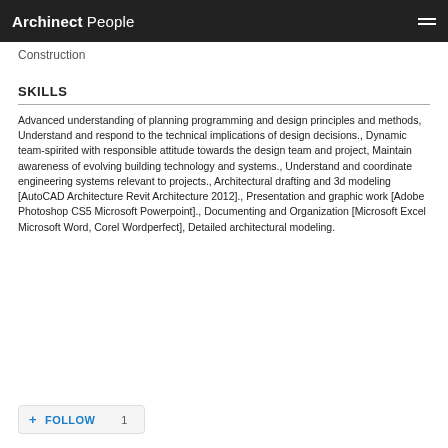Archinect People
Construction
SKILLS
Advanced understanding of planning programming and design principles and methods, Understand and respond to the technical implications of design decisions., Dynamic team-spirited with responsible attitude towards the design team and project, Maintain awareness of evolving building technology and systems., Understand and coordinate engineering systems relevant to projects., Architectural drafting and 3d modeling [AutoCAD Architecture Revit Architecture 2012]., Presentation and graphic work [Adobe Photoshop CS5 Microsoft Powerpoint]., Documenting and Organization [Microsoft Excel Microsoft Word, Corel Wordperfect], Detailed architectural modeling.
+ FOLLOW  1